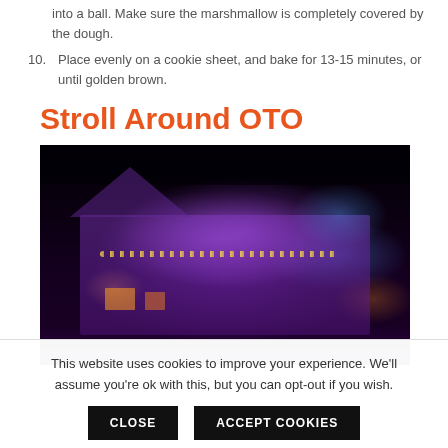into a ball. Make sure the marshmallow is completely covered by the dough.
10. Place evenly on a cookie sheet, and bake for 13-15 minutes, or until golden brown.
Stroll Around OTO
[Figure (photo): A house decorated with purple and blue lights at night, with Christmas/Halloween decorations including garlands and light-up figures on the porch.]
This website uses cookies to improve your experience. We'll assume you're ok with this, but you can opt-out if you wish.
CLOSE   ACCEPT COOKIES